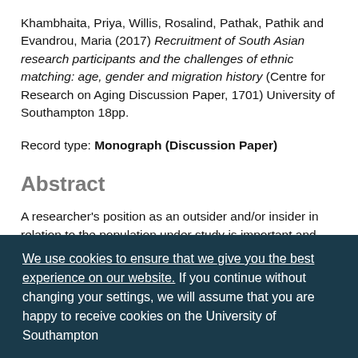Khambhaita, Priya, Willis, Rosalind, Pathak, Pathik and Evandrou, Maria (2017) Recruitment of South Asian research participants and the challenges of ethnic matching: age, gender and migration history (Centre for Research on Aging Discussion Paper, 1701) University of Southampton 18pp.
Record type: Monograph (Discussion Paper)
Abstract
A researcher's position as an outsider and/or insider in relation to the population under study is important and can affect the research relationship. This paper is based on an NIHR CSOB funded research project...
We use cookies to ensure that we give you the best experience on our website. If you continue without changing your settings, we will assume that you are happy to receive cookies on the University of Southampton